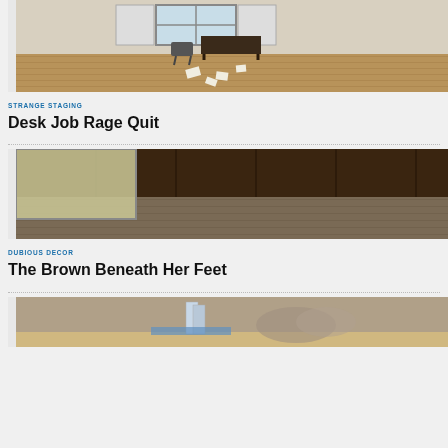[Figure (photo): Empty room with hardwood floor, desk and chair, white shuttered windows, papers scattered on floor]
STRANGE STAGING
Desk Job Rage Quit
[Figure (photo): Empty room with dark wood paneled walls, patterned carpet, large window with sheer curtains]
DUBIOUS DECOR
The Brown Beneath Her Feet
[Figure (photo): Display with architectural model of tall building and cityscape diorama]